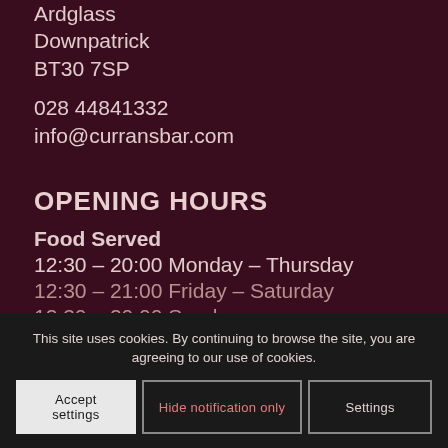Ardglass
Downpatrick
BT30 7SP
028 44841332
info@curransbar.com
OPENING HOURS
Food Served
12:30 – 20:00 Monday – Thursday
12:30 – 21:00 Friday – Saturday
12:30 – 20:00 Sunday
This site uses cookies. By continuing to browse the site, you are agreeing to our use of cookies.